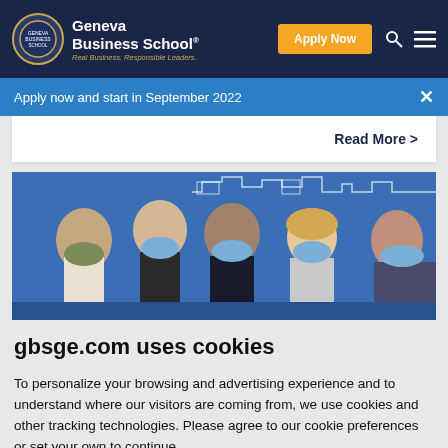Geneva Business School® Real Business. Responsible Leaders. | Apply Now
Apply now and start in September 2022
Read More >
[Figure (photo): Five students wearing face masks standing against a blue wall with a city skyline mural]
gbsge.com uses cookies
To personalize your browsing and advertising experience and to understand where our visitors are coming from, we use cookies and other tracking technologies. Please agree to our cookie preferences or set your own to continue.